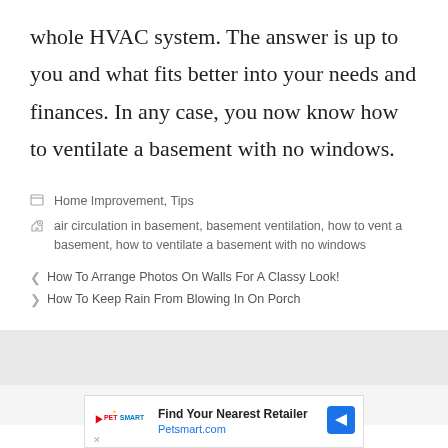whole HVAC system. The answer is up to you and what fits better into your needs and finances. In any case, you now know how to ventilate a basement with no windows.
Home Improvement, Tips
air circulation in basement, basement ventilation, how to vent a basement, how to ventilate a basement with no windows
How To Arrange Photos On Walls For A Classy Look!
How To Keep Rain From Blowing In On Porch
[Figure (other): PetSmart advertisement banner: Find Your Nearest Retailer, Petsmart.com]